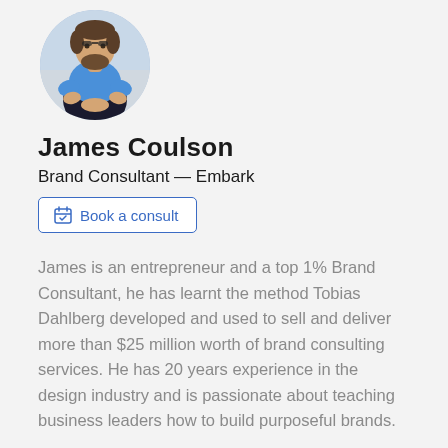[Figure (photo): Circular profile photo of James Coulson, a man wearing a blue t-shirt, sitting cross-legged outdoors.]
James Coulson
Brand Consultant — Embark
Book a consult
James is an entrepreneur and a top 1% Brand Consultant, he has learnt the method Tobias Dahlberg developed and used to sell and deliver more than $25 million worth of brand consulting services. He has 20 years experience in the design industry and is passionate about teaching business leaders how to build purposeful brands.